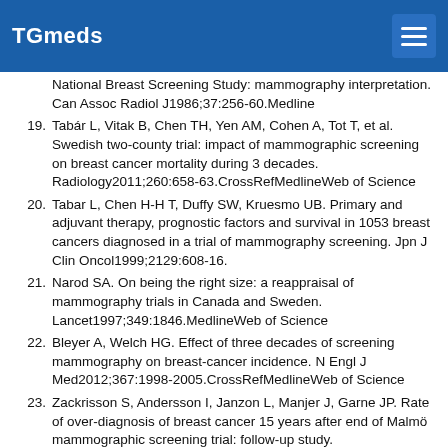TGmeds
National Breast Screening Study: mammography interpretation. Can Assoc Radiol J1986;37:256-60.Medline
19. Tabár L, Vitak B, Chen TH, Yen AM, Cohen A, Tot T, et al. Swedish two-county trial: impact of mammographic screening on breast cancer mortality during 3 decades. Radiology2011;260:658-63.CrossRefMedlineWeb of Science
20. Tabar L, Chen H-H T, Duffy SW, Kruesmo UB. Primary and adjuvant therapy, prognostic factors and survival in 1053 breast cancers diagnosed in a trial of mammography screening. Jpn J Clin Oncol1999;2129:608-16.
21. Narod SA. On being the right size: a reappraisal of mammography trials in Canada and Sweden. Lancet1997;349:1846.MedlineWeb of Science
22. Bleyer A, Welch HG. Effect of three decades of screening mammography on breast-cancer incidence. N Engl J Med2012;367:1998-2005.CrossRefMedlineWeb of Science
23. Zackrisson S, Andersson I, Janzon L, Manjer J, Garne JP. Rate of over-diagnosis of breast cancer 15 years after end of Malmö mammographic screening trial: follow-up study. BMJ2006;332:689-92.Abstract/FREE Full Text